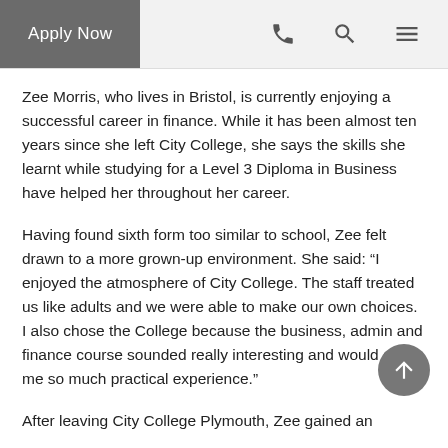Apply Now
Zee Morris, who lives in Bristol, is currently enjoying a successful career in finance. While it has been almost ten years since she left City College, she says the skills she learnt while studying for a Level 3 Diploma in Business have helped her throughout her career.
Having found sixth form too similar to school, Zee felt drawn to a more grown-up environment. She said: “I enjoyed the atmosphere of City College. The staff treated us like adults and we were able to make our own choices. I also chose the College because the business, admin and finance course sounded really interesting and would give me so much practical experience.”
After leaving City College Plymouth, Zee gained an